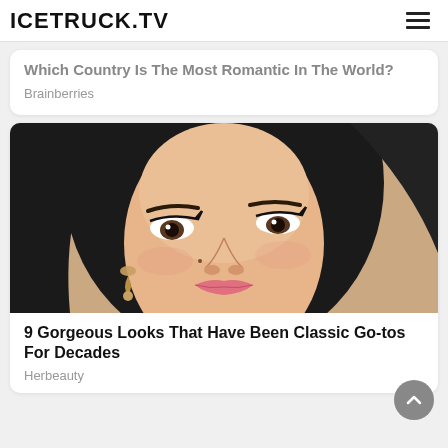ICETRUCK.TV
Which Country Is The Most Romantic In The World?
Brainberries
[Figure (photo): Close-up portrait of a young East Asian woman with long black hair, wearing gold earrings, natural glam makeup with winged eyeliner and rosy lips, against a warm beige background.]
9 Gorgeous Looks That Have Been Classic Go-tos For Decades
Herbeauty